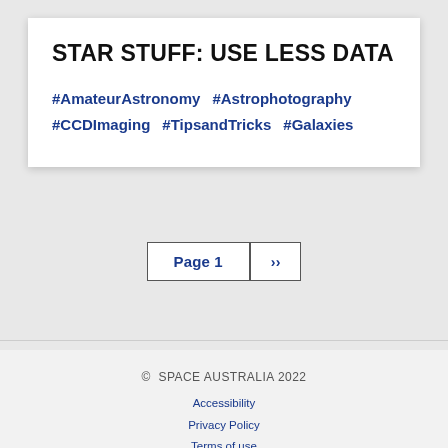STAR STUFF: USE LESS DATA
#AmateurAstronomy  #Astrophotography  #CCDImaging  #TipsandTricks  #Galaxies
Page 1  ››
© SPACE AUSTRALIA 2022
Accessibility
Privacy Policy
Terms of use